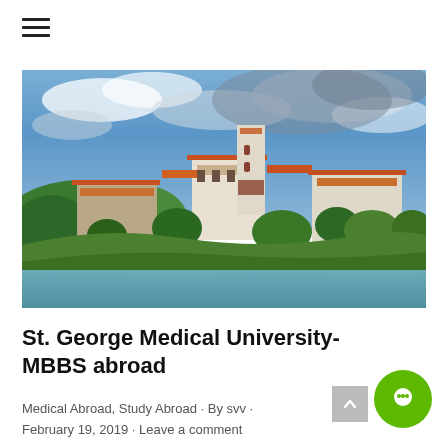[Figure (photo): Aerial/waterfront view of St. George's University campus buildings with orange/red tile roofs, white walls, surrounded by trees and water, under dramatic blue cloudy sky]
St. George Medical University- MBBS abroad
Medical Abroad, Study Abroad · By svv · February 19, 2019 · Leave a comment